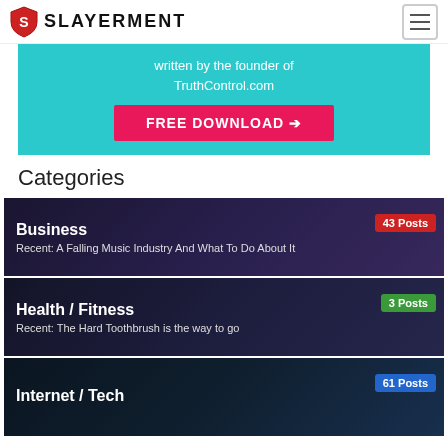SLAYERMENT
[Figure (infographic): Cyan promotional banner with text 'written by the founder of TruthControl.com' and a pink FREE DOWNLOAD button with arrow]
Categories
[Figure (infographic): Business category card - dark background with person image, 43 Posts badge in red, text: Business, Recent: A Falling Music Industry And What To Do About It]
[Figure (infographic): Health / Fitness category card - dark background, 3 Posts badge in green, text: Health / Fitness, Recent: The Hard Toothbrush is the way to go]
[Figure (infographic): Internet / Tech category card - dark blue background, 61 Posts badge in blue, text: Internet / Tech]